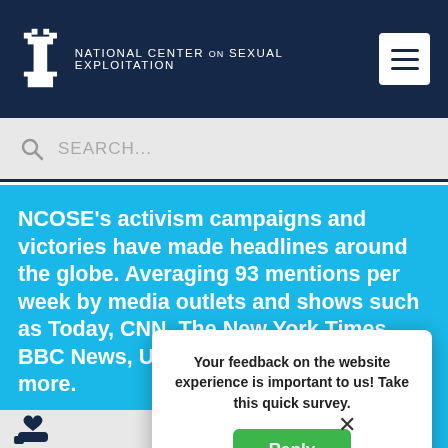NATIONAL CENTER ON SEXUAL EXPLOITATION
SEARCH...
NCOSE’s activism campaigns and victories have made headlines around the globe. Averaging 93 mentions per week by media outlets and shows such as Today, CNN, The New York Times, BBC News, USA Today, Fox News and more.
Your feedback on the website experience is important to us! Take this quick survey.
Reply